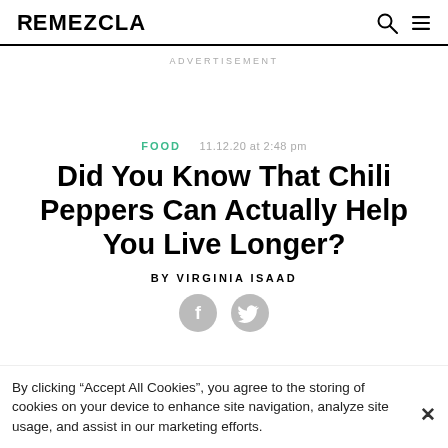REMEZCLA
ADVERTISEMENT
FOOD   11.12.20 at 2:48 pm
Did You Know That Chili Peppers Can Actually Help You Live Longer?
BY VIRGINIA ISAAD
[Figure (other): Social share icons: Facebook and Twitter circular grey buttons]
By clicking “Accept All Cookies”, you agree to the storing of cookies on your device to enhance site navigation, analyze site usage, and assist in our marketing efforts.